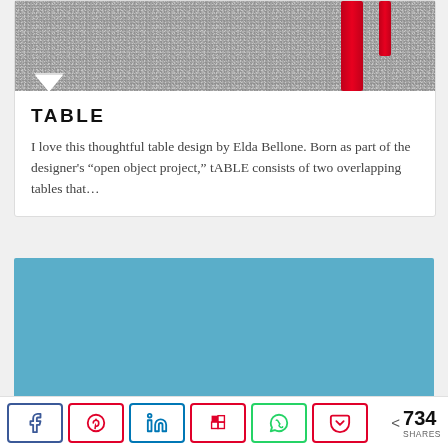[Figure (photo): Top portion of a product photo showing a granite/stone surface with red table leg objects visible at the top right]
TABLE
I love this thoughtful table design by Elda Bellone. Born as part of the designer's "open object project," tABLE consists of two overlapping tables that...
[Figure (photo): Light blue/sky blue colored image block, second product photo]
< 734 SHARES